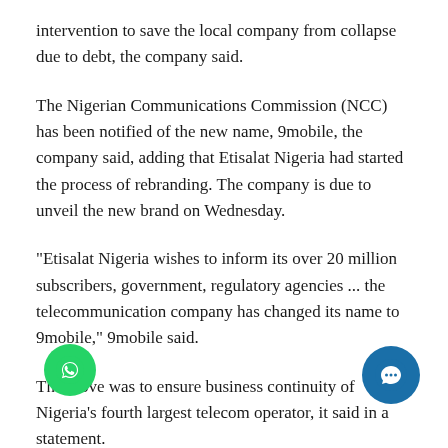intervention to save the local company from collapse due to debt, the company said.
The Nigerian Communications Commission (NCC) has been notified of the new name, 9mobile, the company said, adding that Etisalat Nigeria had started the process of rebranding. The company is due to unveil the new brand on Wednesday.
"Etisalat Nigeria wishes to inform its over 20 million subscribers, government, regulatory agencies ... the telecommunication company has changed its name to 9mobile," 9mobile said.
The move was to ensure business continuity of Nigeria's fourth largest telecom operator, it said in a statement.
Etisalat Nigeria had been in talks with its lenders to restructure a $1.2 billion loan after it missed repayments but the discussions failed to produce a deal, forcing the banks to step in.